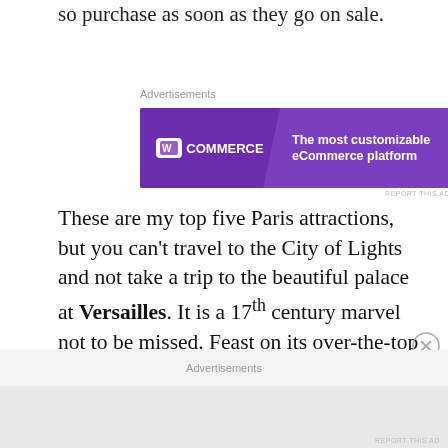so purchase as soon as they go on sale.
Advertisements
[Figure (other): WooCommerce advertisement banner with purple background. Left side shows WooCommerce logo (shopping bag icon + text). Right side reads: The most customizable eCommerce platform]
These are my top five Paris attractions, but you can't travel to the City of Light and not take a trip to the beautiful palace at Versailles. It is a 17th century marvel not to be missed. Feast on its over-the-top décor. Fancy yourself a courtier of Louis XIV. Take the day to explore the grounds and revel in all that was pre-revolution monarchical France. I highly recommend going with The Tour Guy who offer small-groups, will
Advertisements